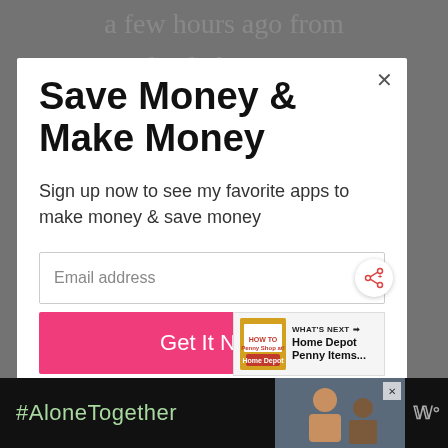a few hours ago from
this lady's site:
Save Money & Make Money
Sign up now to see my favorite apps to make money & save money
Email address
Get It Now
WHAT'S NEXT → Home Depot Penny Items...
#AloneTogether